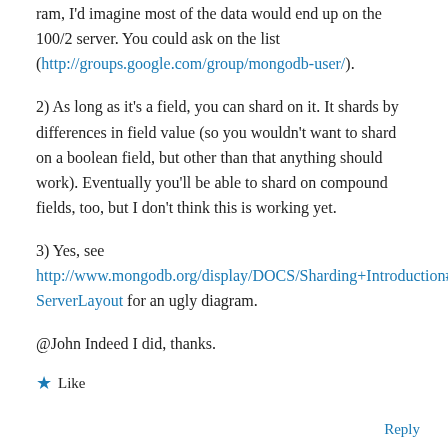ram, I'd imagine most of the data would end up on the 100/2 server. You could ask on the list (http://groups.google.com/group/mongodb-user/).
2) As long as it's a field, you can shard on it. It shards by differences in field value (so you wouldn't want to shard on a boolean field, but other than that anything should work). Eventually you'll be able to shard on compound fields, too, but I don't think this is working yet.
3) Yes, see http://www.mongodb.org/display/DOCS/Sharding+Introduction#ShardingIntroduction-ServerLayout for an ugly diagram.
@John Indeed I did, thanks.
★ Like
Reply